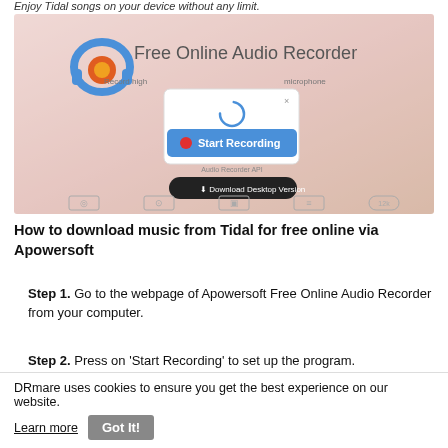Enjoy Tidal songs on your device without any limit.
[Figure (screenshot): Screenshot of Apowersoft Free Online Audio Recorder webpage showing the logo with headphones, 'Free Online Audio Recorder' title, a dialog box saying 'Launching application...', a blue 'Start Recording' button, a 'Download Desktop Version' button, and bottom navigation icons.]
How to download music from Tidal for free online via Apowersoft
Step 1. Go to the webpage of Apowersoft Free Online Audio Recorder from your computer.
Step 2. Press on 'Start Recording' to set up the program.
DRmare uses cookies to ensure you get the best experience on our website. Learn more  Got It!